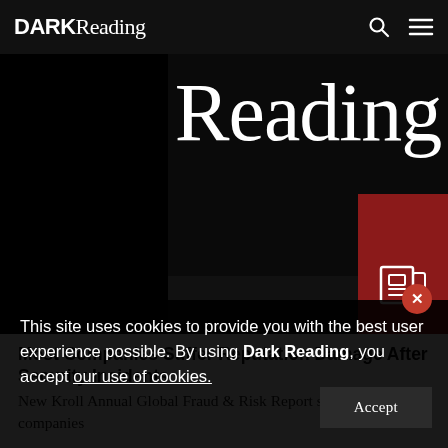DARK Reading
[Figure (screenshot): Dark Reading hero banner with large 'Reading' text in white serif font on black background with dark red accent block and newspaper icon]
Most Companies Suffer Reputation Damage After Security Incidents
New Kroll Annual Global Fraud & Risk Report says 86% of companies
This site uses cookies to provide you with the best user experience possible. By using Dark Reading, you accept our use of cookies.
Accept